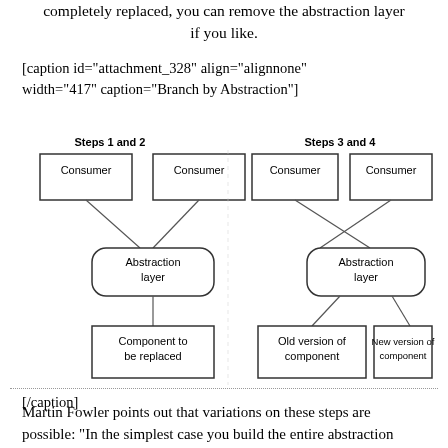completely replaced, you can remove the abstraction layer if you like.
[caption id="attachment_328" align="alignnone" width="417" caption="Branch by Abstraction"]
[Figure (flowchart): Two side-by-side flowcharts showing Branch by Abstraction steps. Left diagram (Steps 1 and 2): Two Consumer boxes connect to an Abstraction layer (rounded rectangle), which connects to 'Component to be replaced'. Right diagram (Steps 3 and 4): Two Consumer boxes cross-connect to an Abstraction layer, which connects to both 'Old version of component' and 'New version of component'.]
[/caption]
Martin Fowler points out that variations on these steps are possible: "In the simplest case you build the entire abstraction layer, refactor everything to use it,